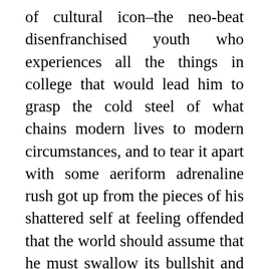of cultural icon–the neo-beat disenfranchised youth who experiences all the things in college that would lead him to grasp the cold steel of what chains modern lives to modern circumstances, and to tear it apart with some aeriform adrenaline rush got up from the pieces of his shattered self at feeling offended that the world should assume that he must swallow its bullshit and join the ranks of middle class apathetics. Nothing else was attractive–not even the jobs that cause goodness, because they were all within the same framework, a reality that I wanted so badly to tear myself from. And I discovered